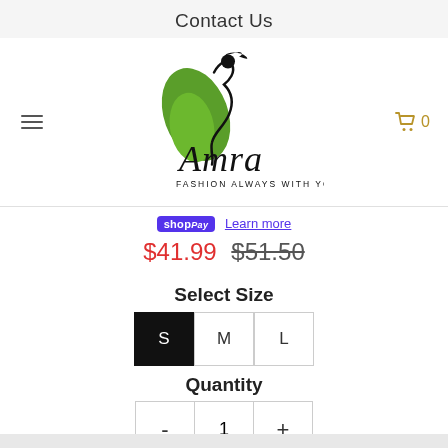Contact Us
[Figure (logo): Amra Fashion Always With You logo — stylized woman figure with green leaf and cursive Amra text]
shopPay  Learn more
$41.99  $51.50
Select Size
S  M  L
Quantity
-  1  +